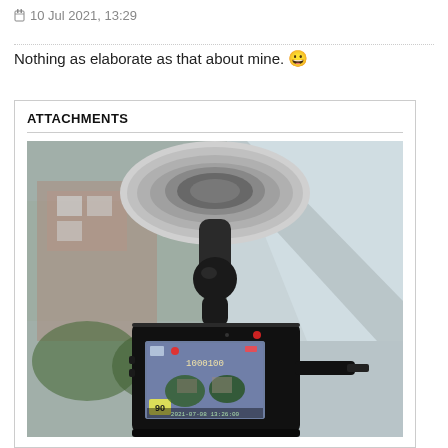10 Jul 2021, 13:29
Nothing as elaborate as that about mine. 😀
ATTACHMENTS
[Figure (photo): A dashcam mounted on a car windshield via a suction cup mount. The dashcam has a small LCD screen showing a recording in progress with trees and houses visible. A cable is attached to the right side of the device. The background shows a blurred street scene through the windshield.]